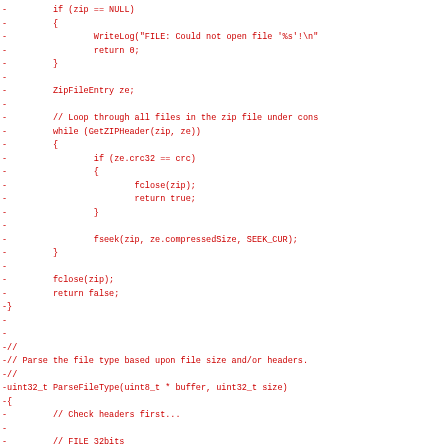Code diff showing deleted lines (prefixed with -) of C/C++ source code for a ZIP file parsing function and ParseFileType function